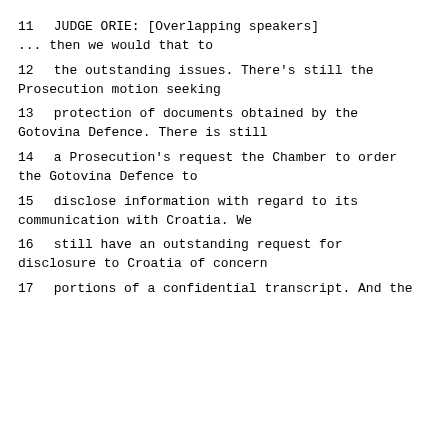11   JUDGE ORIE:  [Overlapping speakers] ... then we would that to
12   the outstanding issues.  There's still the Prosecution motion seeking
13   protection of documents obtained by the Gotovina Defence.  There is still
14   a Prosecution's request the Chamber to order the Gotovina Defence to
15   disclose information with regard to its communication with Croatia. We
16   still have an outstanding request for disclosure to Croatia of concern
17   portions of a confidential transcript.  And the